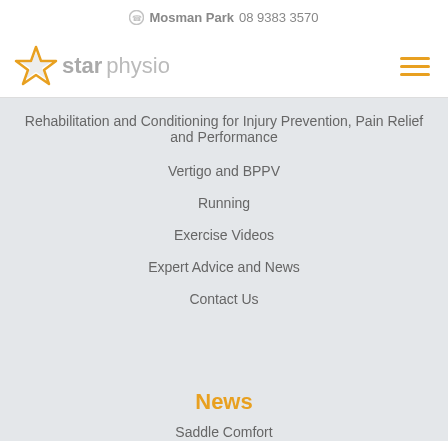Mosman Park 08 9383 3570
[Figure (logo): Star Physio logo with star icon and text]
Rehabilitation and Conditioning for Injury Prevention, Pain Relief and Performance
Vertigo and BPPV
Running
Exercise Videos
Expert Advice and News
Contact Us
News
Saddle Comfort